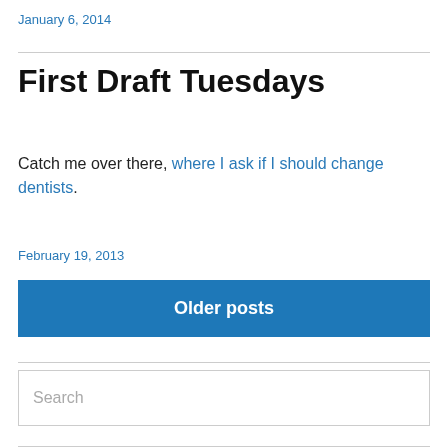January 6, 2014
First Draft Tuesdays
Catch me over there, where I ask if I should change dentists.
February 19, 2013
Older posts
Search